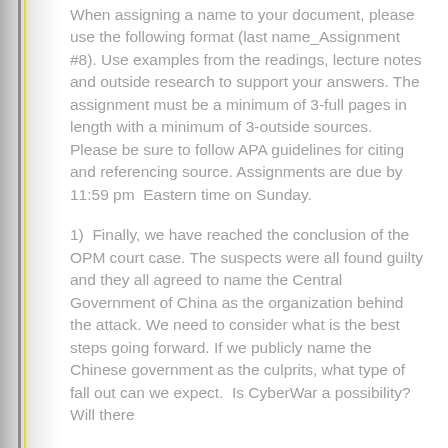When assigning a name to your document, please use the following format (last name_Assignment #8). Use examples from the readings, lecture notes and outside research to support your answers. The assignment must be a minimum of 3-full pages in length with a minimum of 3-outside sources.  Please be sure to follow APA guidelines for citing and referencing source. Assignments are due by 11:59 pm  Eastern time on Sunday.
1)  Finally, we have reached the conclusion of the OPM court case. The suspects were all found guilty and they all agreed to name the Central Government of China as the organization behind the attack. We need to consider what is the best steps going forward. If we publicly name the Chinese government as the culprits, what type of fall out can we expect.  Is CyberWar a possibility? Will there